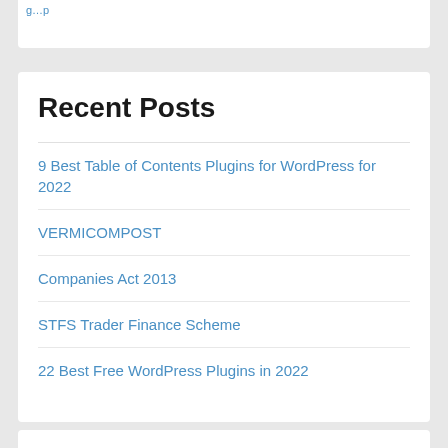Recent Posts
9 Best Table of Contents Plugins for WordPress for 2022
VERMICOMPOST
Companies Act 2013
STFS Trader Finance Scheme
22 Best Free WordPress Plugins in 2022